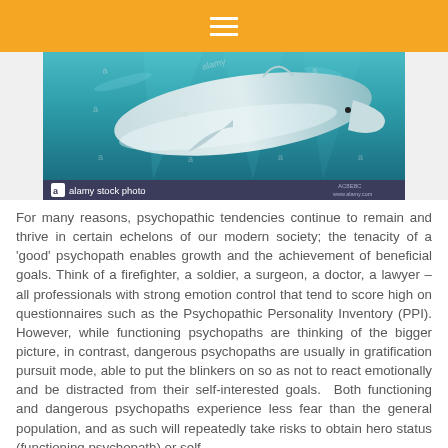≡
[Figure (photo): Underwater photograph of a large shark (great white shark) swimming, with Alamy stock photo watermark overlay. Caption bar at bottom reads 'alamy stock photo' with logo and reference code AC8E8C www.alamy.com]
For many reasons, psychopathic tendencies continue to remain and thrive in certain echelons of our modern society; the tenacity of a 'good' psychopath enables growth and the achievement of beneficial goals. Think of a firefighter, a soldier, a surgeon, a doctor, a lawyer – all professionals with strong emotion control that tend to score high on questionnaires such as the Psychopathic Personality Inventory (PPI). However, while functioning psychopaths are thinking of the bigger picture, in contrast, dangerous psychopaths are usually in gratification pursuit mode, able to put the blinkers on so as not to react emotionally and be distracted from their self-interested goals.  Both functioning and dangerous psychopaths experience less fear than the general population, and as such will repeatedly take risks to obtain hero status (functioning psychopath) or self-gratification at the expense of others (dangerous psychopath).